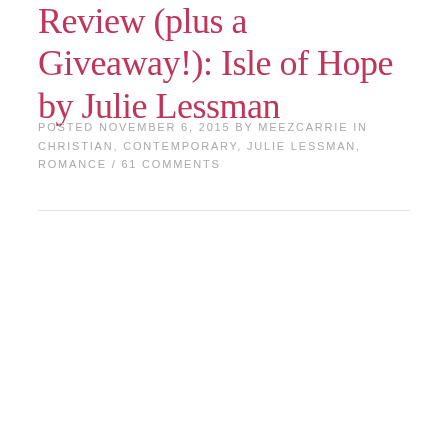Review (plus a Giveaway!): Isle of Hope by Julie Lessman
POSTED NOVEMBER 6, 2015 BY MEEZCARRIE IN CHRISTIAN, CONTEMPORARY, JULIE LESSMAN, ROMANCE / 61 COMMENTS